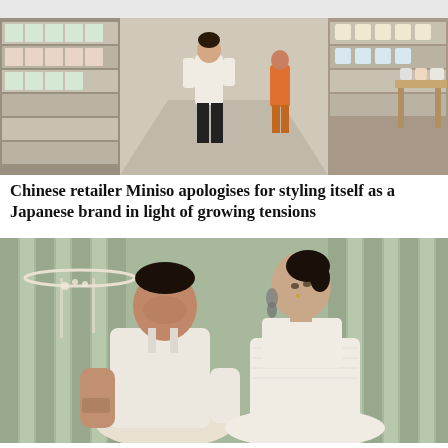[Figure (photo): Interior of a Miniso retail store showing shelves stocked with packaged products, a person in a white shirt walking through an aisle, and another person in an orange outfit in the background.]
Chinese retailer Miniso apologises for styling itself as a Japanese brand in light of growing tensions
[Figure (photo): Bollywood actor Sonam Kapoor and husband Anand Ahuja posing together against a pale green curtained background. Both are dressed in cream/white outfits.]
Bollywood actor Sonam Kapoor and husband Anand Ahuja